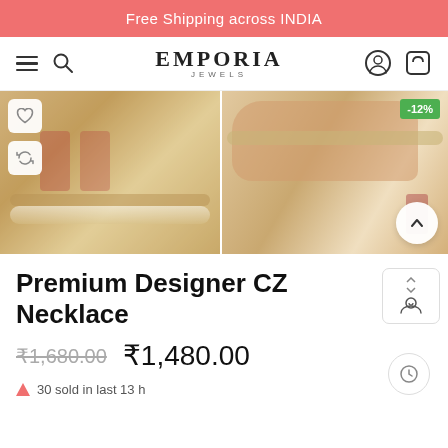Free Shipping across INDIA
[Figure (logo): Emporia Jewels logo with hamburger menu, search icon, login icon, and cart icon in navigation bar]
[Figure (photo): Two product photos of a Premium Designer CZ Necklace with earrings and pearl chain. Left image shows full set on fabric. Right image shows hand holding the choker necklace, with a -12% discount badge.]
Premium Designer CZ Necklace
₹1,680.00  ₹1,480.00